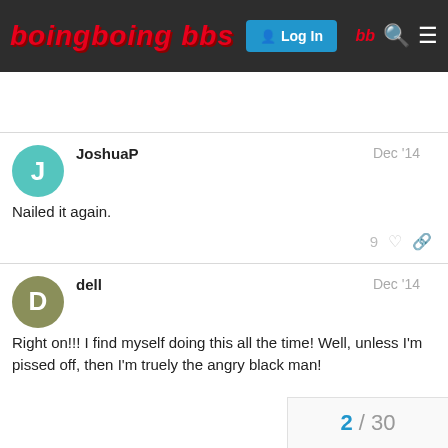boingboing bbs
JoshuaP  Dec '14
Nailed it again.
9 ♡ 🔗
dell  Dec '14
Right on!!! I find myself doing this all the time! Well, unless I'm pissed off, then I'm truely the angry black man!
2 / 30